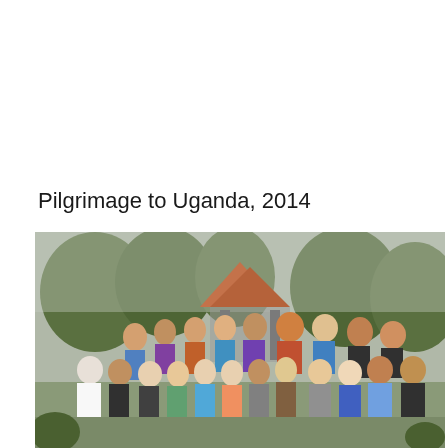Pilgrimage to Uganda, 2014
[Figure (photo): Group photo of approximately 30 people standing outdoors in front of a gazebo or pavilion with a terracotta tile roof, surrounded by trees. The group includes men and women of various ages, some wearing colorful African-print shirts. The setting appears to be a public square or garden.]